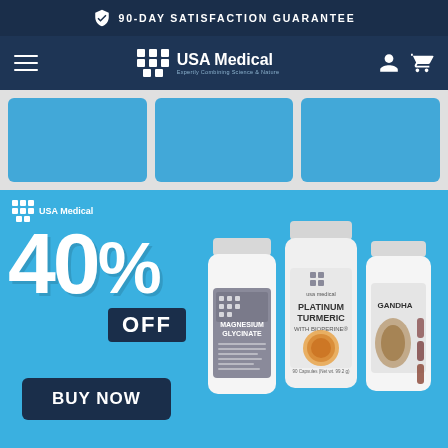90-DAY SATISFACTION GUARANTEE
[Figure (screenshot): USA Medical website navigation bar with hamburger menu, logo, user icon and cart icon on dark blue background]
[Figure (infographic): Three blue category cards/banners in a row]
[Figure (infographic): Hero banner with 40% OFF promotion and BUY NOW button, showing three supplement bottles: Magnesium Glycinate, Platinum Turmeric with BioPerine, and Ashwagandha]